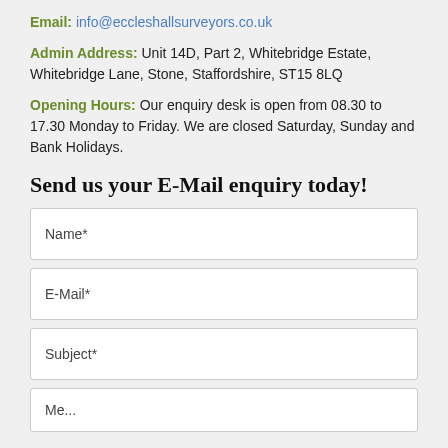Email: info@eccleshallsurveyors.co.uk
Admin Address: Unit 14D, Part 2, Whitebridge Estate, Whitebridge Lane, Stone, Staffordshire, ST15 8LQ
Opening Hours: Our enquiry desk is open from 08.30 to 17.30 Monday to Friday. We are closed Saturday, Sunday and Bank Holidays.
Send us your E-Mail enquiry today!
Name*
E-Mail*
Subject*
Message*